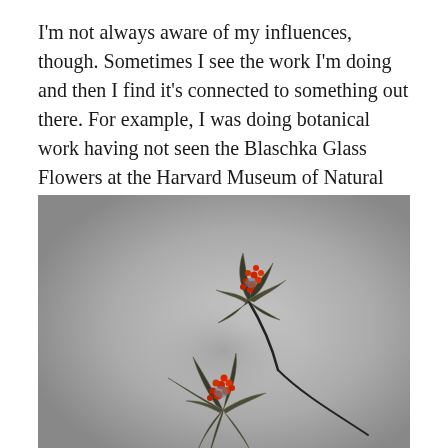I'm not always aware of my influences, though. Sometimes I see the work I'm doing and then I find it's connected to something out there. For example, I was doing botanical work having not seen the Blaschka Glass Flowers at the Harvard Museum of Natural History; a collector of mine made the connection.
[Figure (photo): Photograph of two decorative botanical sculptures resembling protea flowers with dark metallic leaves and red berry-like clusters, on wire stems, against a grey gradient background.]